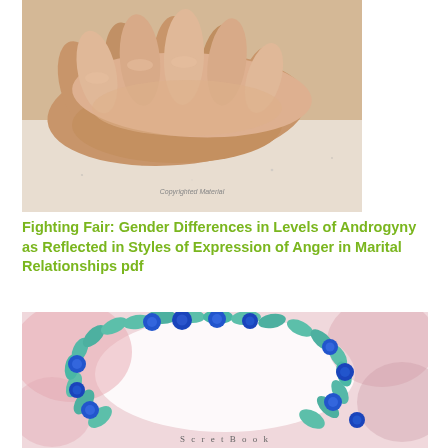[Figure (photo): Close-up photo of two hands resting together on a light wooden surface with a watermark 'Copyrighted Material' at the bottom.]
Fighting Fair: Gender Differences in Levels of Androgyny as Reflected in Styles of Expression of Anger in Marital Relationships pdf
[Figure (illustration): Watercolor illustration showing a wreath of teal/green leaves and dark blue berries on a pink and white background, with partial text visible at the bottom.]